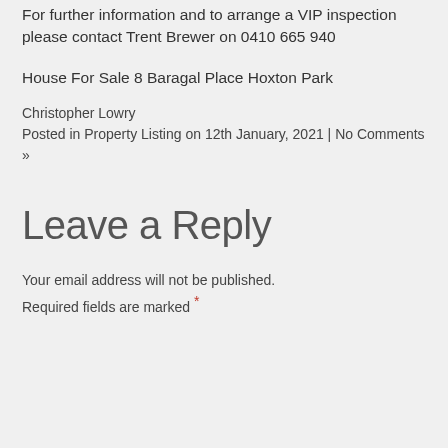For further information and to arrange a VIP inspection please contact Trent Brewer on 0410 665 940
House For Sale 8 Baragal Place Hoxton Park
Christopher Lowry
Posted in Property Listing on 12th January, 2021 | No Comments »
Leave a Reply
Your email address will not be published. Required fields are marked *